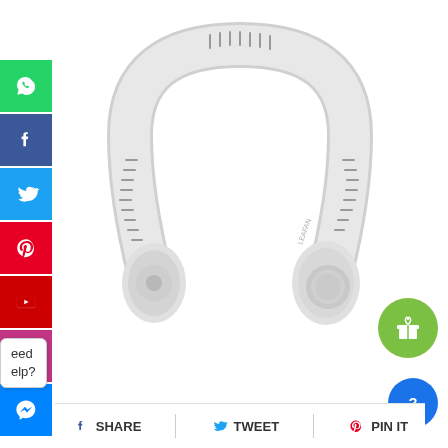[Figure (photo): A white bladeless neck fan / wearable personal fan shown on a white background. The U-shaped device has ventilation grilles along the arc and round ends.]
WhatsApp share button
Facebook share button
Twitter share button
Pinterest share button
YouTube share button
Instagram share button
Messenger share button
Need help?
SHARE   TWEET   PIN IT